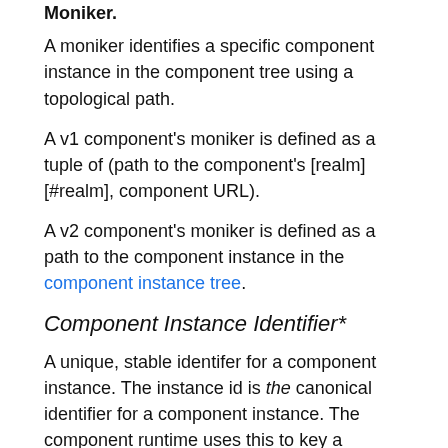A moniker identifies a specific component instance in the component tree using a topological path.
A v1 component's moniker is defined as a tuple of (path to the component's [realm][#realm], component URL).
A v2 component's moniker is defined as a path to the component instance in the component instance tree.
Component Instance Identifier*
A unique, stable identifer for a component instance. The instance id is the canonical identifier for a component instance. The component runtime uses this to key a component's persistent resources, if it has any. While a component instance's moniker may change, its instance ID remains the same.
Instance IDs are assigned to component instances using a component ID index.
Component URL